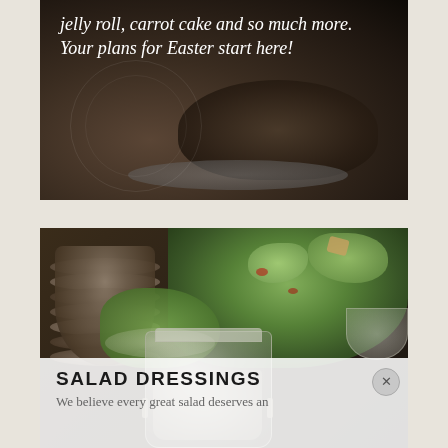[Figure (photo): Dark food photo showing a roasted meat dish on a plate, with text overlay on the left side reading 'jelly roll, carrot cake and so much more. Your plans for Easter start here!']
jelly roll, carrot cake and so much more. Your plans for Easter start here!
[Figure (photo): Photo of a Caesar salad with stacked dark plates on the left, a glass bowl of green salad on the right, lettuce and croutons visible, and a glass jar of dressing in the foreground]
SALAD DRESSINGS
We believe every great salad deserves an ...